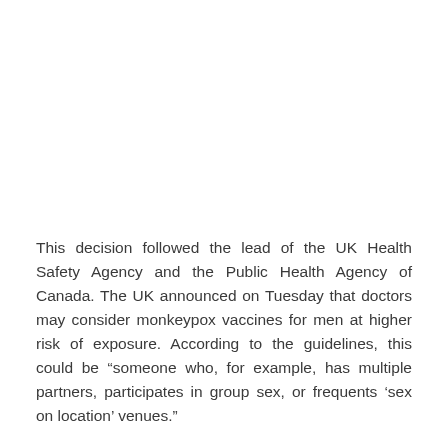This decision followed the lead of the UK Health Safety Agency and the Public Health Agency of Canada. The UK announced on Tuesday that doctors may consider monkeypox vaccines for men at higher risk of exposure. According to the guidelines, this could be “someone who, for example, has multiple partners, participates in group sex, or frequents ‘sex on location’ venues.”
In Canada, vaccination clinics have offered monkeypox vaccines to men who have sex with other men and